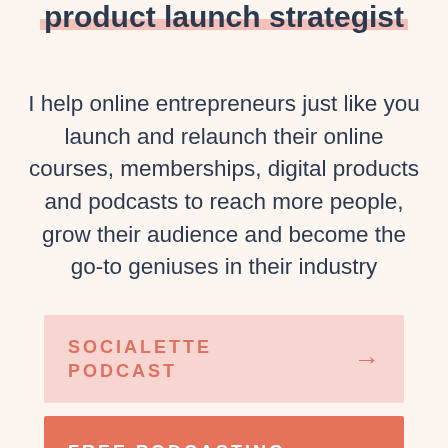product launch strategist
I help online entrepreneurs just like you launch and relaunch their online courses, memberships, digital products and podcasts to reach more people, grow their audience and become the go-to geniuses in their industry
SOCIALETTE PODCAST →
FREE PODCASTING →